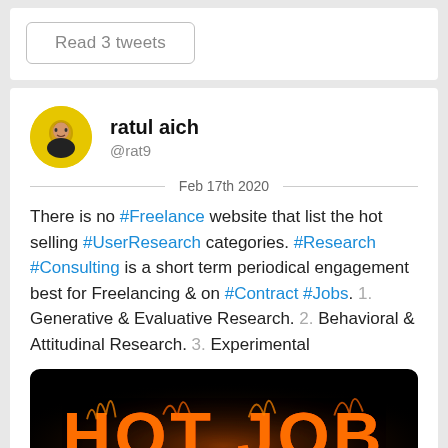Read 3 tweets
ratul aich
@rat9
Feb 17th 2020
There is no #Freelance website that list the hot selling #UserResearch categories. #Research #Consulting is a short term periodical engagement best for Freelancing & on #Contract #Jobs. 1. Generative & Evaluative Research. 2. Behavioral & Attitudinal Research. 3. Experimental
[Figure (photo): Dark background image with flaming text reading HOT JOB]